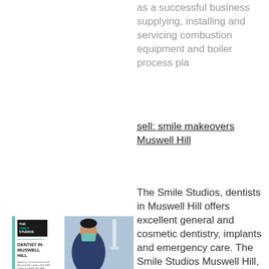as a successful business supplying, installing and servicing combustion equipment and boiler process pla
sell: smile makeovers Muswell Hill
The Smile Studios, dentists in Muswell Hill offers excellent general and cosmetic dentistry, implants and emergency care. The Smile Studios Muswell Hill, the
[Figure (photo): Advertisement for The Smile Studios dentist in Muswell Hill showing logo on left with teal border, and a photo of a dentist treating a patient on the right.]